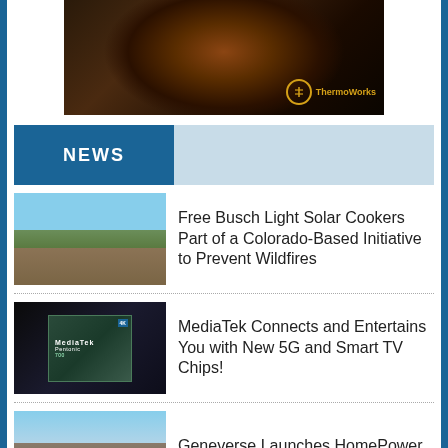[Figure (photo): ThermoWorks advertisement banner showing a steak cooking in a cast iron pan with rosemary, with the ThermoWorks logo in gold]
NEWS
[Figure (photo): Person sitting outside a yellow tent in a mountain landscape]
Free Busch Light Solar Cookers Part of a Colorado-Based Initiative to Prevent Wildfires
[Figure (photo): MediaTek Pentonic chip product photo on dark background]
MediaTek Connects and Entertains You with New 5G and Smart TV Chips!
[Figure (photo): Large house/estate with a person standing in front, with solar panels visible]
Geneverse Launches HomePower PRO Series Solar